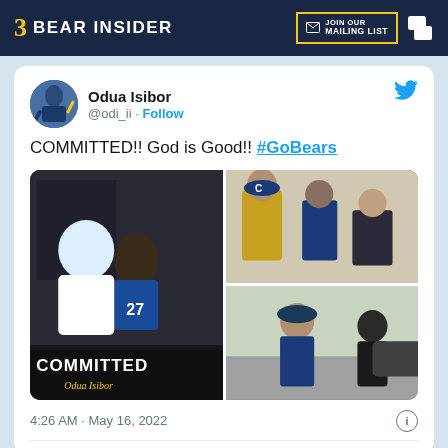BEAR INSIDER | JOIN OUR MAILING LIST
[Figure (screenshot): Tweet by Odua Isibor (@odi_ii) showing commitment announcement. Text: COMMITTED!! God is Good!! #GoBears. Includes three photos of the recruit in Cal football gear and a commitment graphic. Timestamp: 4:26 AM · May 16, 2022]